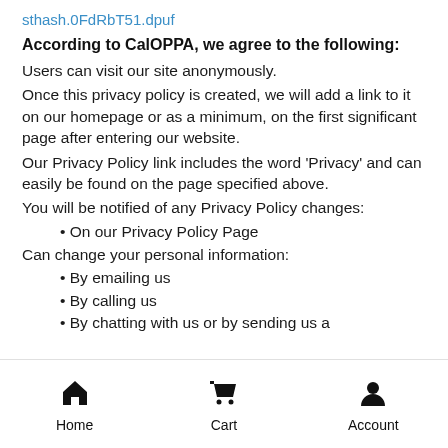sthash.0FdRbT51.dpuf
According to CalOPPA, we agree to the following:
Users can visit our site anonymously.
Once this privacy policy is created, we will add a link to it on our homepage or as a minimum, on the first significant page after entering our website.
Our Privacy Policy link includes the word 'Privacy' and can easily be found on the page specified above.
You will be notified of any Privacy Policy changes:
• On our Privacy Policy Page
Can change your personal information:
• By emailing us
• By calling us
• By chatting with us or by sending us a
Home  Cart  Account